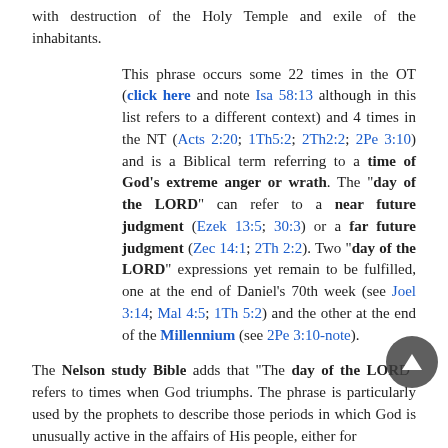with destruction of the Holy Temple and exile of the inhabitants.
This phrase occurs some 22 times in the OT (click here and note Isa 58:13 although in this list refers to a different context) and 4 times in the NT (Acts 2:20; 1Th5:2; 2Th2:2; 2Pe 3:10) and is a Biblical term referring to a time of God's extreme anger or wrath. The "day of the LORD" can refer to a near future judgment (Ezek 13:5; 30:3) or a far future judgment (Zec 14:1; 2Th 2:2). Two "day of the LORD" expressions yet remain to be fulfilled, one at the end of Daniel's 70th week (see Joel 3:14; Mal 4:5; 1Th 5:2) and the other at the end of the Millennium (see 2Pe 3:10-note).
The Nelson study Bible adds that "The day of the LORD refers to times when God triumphs. The phrase is particularly used by the prophets to describe those periods in which God is unusually active in the affairs of His people, either for